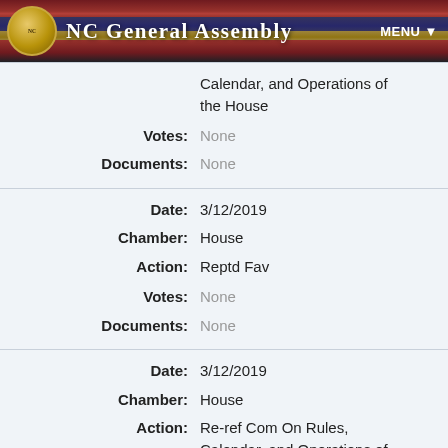NC General Assembly
| Label | Value |
| --- | --- |
| Action: | Re-ref Com On Rules, Calendar, and Operations of the House |
| Votes: | None |
| Documents: | None |
| Date: | 3/12/2019 |
| Chamber: | House |
| Action: | Reptd Fav |
| Votes: | None |
| Documents: | None |
| Date: | 3/12/2019 |
| Chamber: | House |
| Action: | Re-ref Com On Rules, Calendar, and Operations of the House |
| Votes: | None |
| Documents: | None |